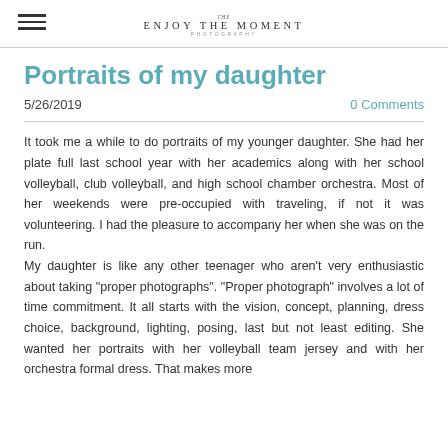Enjoy the Moment Photography [logo]
Portraits of my daughter
5/26/2019
0 Comments
It took me a while to do portraits of my younger daughter. She had her plate full last school year with her academics along with her school volleyball, club volleyball, and high school chamber orchestra. Most of her weekends were pre-occupied with traveling, if not it was volunteering. I had the pleasure to accompany her when she was on the run.
My daughter is like any other teenager who aren't very enthusiastic about taking "proper photographs". "Proper photograph" involves a lot of time commitment. It all starts with the vision, concept, planning, dress choice, background, lighting, posing, last but not least editing. She wanted her portraits with her volleyball team jersey and with her orchestra formal dress. That makes more